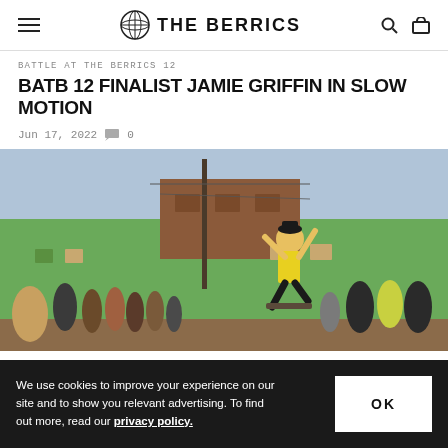THE BERRICS
BATTLE AT THE BERRICS 12
BATB 12 FINALIST JAMIE GRIFFIN IN SLOW MOTION
Jun 17, 2022   0
[Figure (photo): A skateboarder in a yellow shirt performing a trick mid-air on a street in Africa, with a crowd of local children and adults watching in the background, in front of a green painted building.]
We use cookies to improve your experience on our site and to show you relevant advertising. To find out more, read our privacy policy.